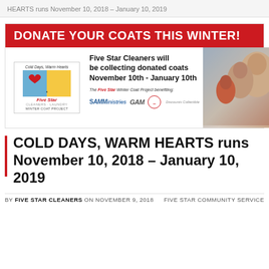HEARTS runs November 10, 2018 – January 10, 2019
[Figure (infographic): Donate Your Coats This Winter! advertisement for Five Star Cleaners Winter Coat Project. Red banner with white text 'DONATE YOUR COATS THIS WINTER!', logo for Cold Days Warm Hearts / Five Star Cleaners Winter Coat Project, text stating 'Five Star Cleaners will be collecting donated coats November 10th - January 10th', logos for SAMMinistries, GAM, and a circular logo, with a photo of a family in winter.]
COLD DAYS, WARM HEARTS runs November 10, 2018 – January 10, 2019
BY FIVE STAR CLEANERS ON NOVEMBER 9, 2018
FIVE STAR COMMUNITY SERVICE